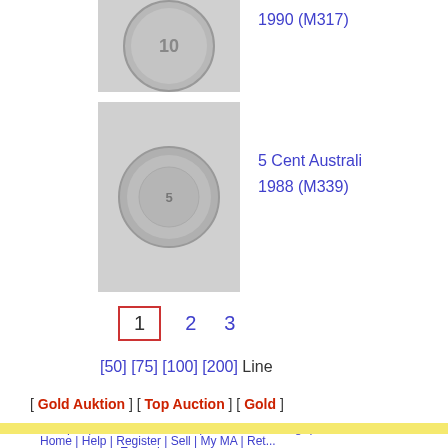[Figure (photo): Coin image partially visible at top - 10 cent coin, clipped]
1990 (M317)
[Figure (photo): 5 Cent Australian coin image, 1988]
5 Cent Australi...
1988 (M339)
1  2  3
[50] [75] [100] [200] Line
[ Gold Auktion ] [ Top Auction ] [ Gold ]
MA-Shops | Dr. Busso Peus | Manfred Olding | Dirk Loebbe...
Franz |
Home | Help | Register | Sell | My MA | Ret...